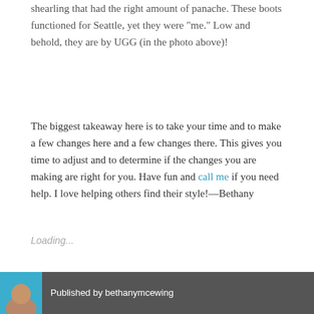shearling that had the right amount of panache. These boots functioned for Seattle, yet they were “me.” Low and behold, they are by UGG (in the photo above)!
The biggest takeaway here is to take your time and to make a few changes here and a few changes there. This gives you time to adjust and to determine if the changes you are making are right for you. Have fun and call me if you need help. I love helping others find their style!—Bethany
Loading...
Published by bethanymcewing